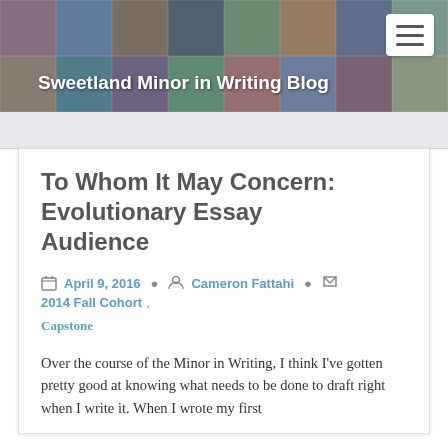Sweetland Minor in Writing Blog
To Whom It May Concern: Evolutionary Essay Audience
April 9, 2016  Cameron Fattahi  2014 Fall Cohort, Capstone
Over the course of the Minor in Writing, I think I've gotten pretty good at knowing what needs to be done to draft right when I write it. When I wrote my first